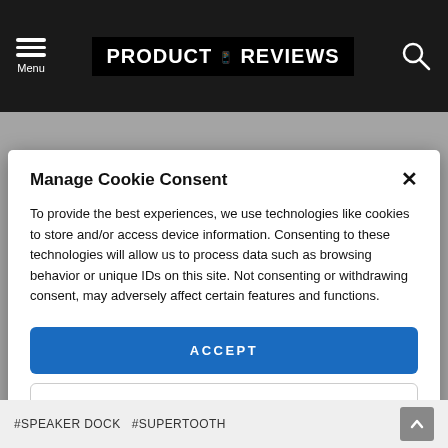Menu | PRODUCT REVIEWS
Manage Cookie Consent
To provide the best experiences, we use technologies like cookies to store and/or access device information. Consenting to these technologies will allow us to process data such as browsing behavior or unique IDs on this site. Not consenting or withdrawing consent, may adversely affect certain features and functions.
ACCEPT
VIEW PREFERENCES
Cookie Policy  Privacy Policy
#SPEAKER DOCK  #SUPERTOOTH